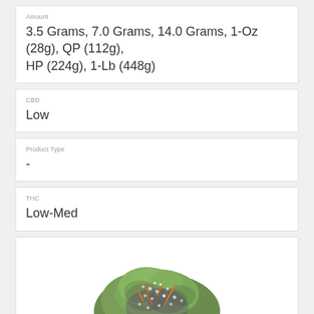Amount
3.5 Grams, 7.0 Grams, 14.0 Grams, 1-Oz (28g), QP (112g), HP (224g), 1-Lb (448g)
CBD
Low
Product Type
-
THC
Low-Med
[Figure (photo): Close-up photograph of a cannabis flower bud with green, purple, and orange coloring covered in trichomes, displayed on white background]